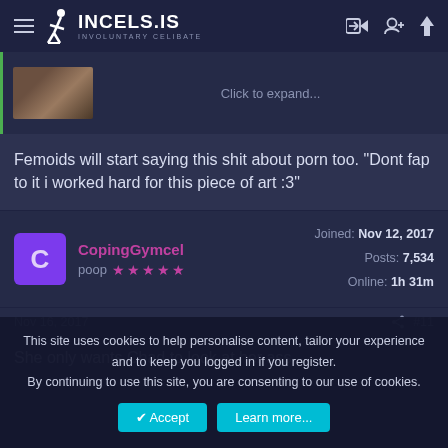INCELS.IS INVOLUNTARY CELIBATE
[Figure (screenshot): Thumbnail image with 'Click to expand...' text]
Femoids will start saying this shit about porn too. "Dont fap to it i worked hard for this piece of art :3"
CopingGymcel
poop ★★★★★
Joined: Nov 12, 2017
Posts: 7,534
Online: 1h 31m
Nov 16, 2017  #11
She only wants Chad to look at her ass.
This site uses cookies to help personalise content, tailor your experience and to keep you logged in if you register.
By continuing to use this site, you are consenting to our use of cookies.